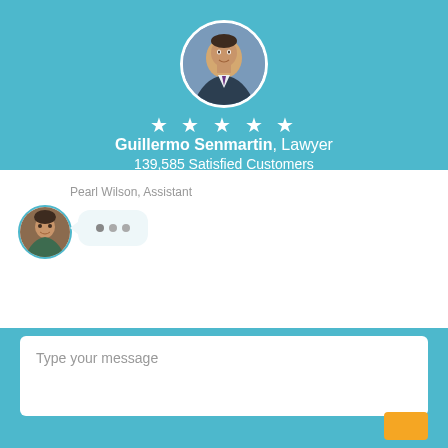[Figure (photo): Profile photo of lawyer Guillermo Senmartin in a circular frame with teal border at top of chat interface header]
★★★★★
Guillermo Senmartin, Lawyer
139,585 Satisfied Customers
Pearl Wilson, Assistant
[Figure (photo): Small circular avatar photo of Pearl Wilson, assistant, with teal border]
[Figure (other): Typing indicator bubble with three dots showing assistant is typing]
Type your message